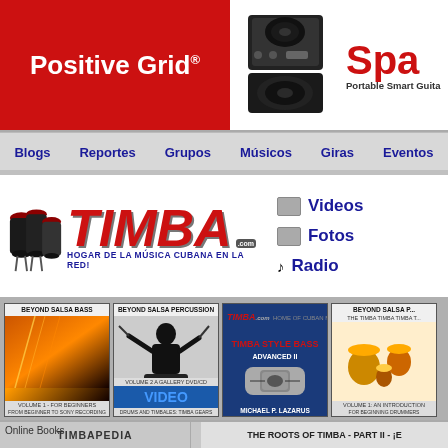[Figure (screenshot): Positive Grid advertisement banner with red background, speaker/amp image, and 'Spa' text with 'Portable Smart Guita' subtitle]
Blogs  Reportes  Grupos  Músicos  Giras  Eventos
[Figure (logo): Timba.com logo with conga drums, red italic TIMBA text, .com badge, and tagline HOGAR DE LA MÚSICA CUBANA EN LA RED!]
Videos
Fotos
Radio
[Figure (photo): Beyond Salsa Bass book cover - volume 1 for beginners]
[Figure (photo): Beyond Salsa Percussion video DVD - drums and timbales Timba gears]
[Figure (photo): Timba Style Bass book by Michael P. Lazarus]
[Figure (photo): Beyond Salsa P... book cover - volume 1 an introduction for beginning drummers]
TIMBAPEDIA
Online Books
THE ROOTS OF TIMBA - PART II - ¡E